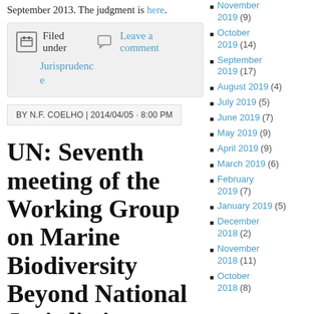September 2013. The judgment is here.
Filed under  Leave a comment  Jurisprudence
BY N.F. COELHO | 2014/04/05 · 8:00 PM
UN: Seventh meeting of the Working Group on Marine Biodiversity Beyond National Jurisdiction
The seventh meeting of the UN Working Group on Marine Biodiversity Beyond National Jurisdiction and the...
November 2019 (9)
October 2019 (14)
September 2019 (17)
August 2019 (4)
July 2019 (5)
June 2019 (7)
May 2019 (9)
April 2019 (9)
March 2019 (6)
February 2019 (7)
January 2019 (5)
December 2018 (2)
November 2018 (11)
October 2018 (8)